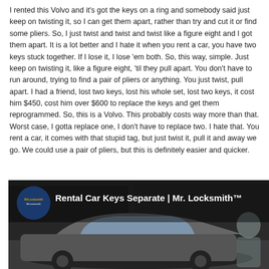I rented this Volvo and it's got the keys on a ring and somebody said just keep on twisting it, so I can get them apart, rather than try and cut it or find some pliers. So, I just twist and twist and twist like a figure eight and I got them apart. It is a lot better and I hate it when you rent a car, you have two keys stuck together. If I lose it, I lose 'em both. So, this way, simple. Just keep on twisting it, like a figure eight, 'til they pull apart. You don't have to run around, trying to find a pair of pliers or anything. You just twist, pull apart. I had a friend, lost two keys, lost his whole set, lost two keys, it cost him $450, cost him over $600 to replace the keys and get them reprogrammed. So, this is a Volvo. This probably costs way more than that. Worst case, I gotta replace one, I don't have to replace two. I hate that. You rent a car, it comes with that stupid tag, but just twist it, pull it and away we go. We could use a pair of pliers, but this is definitely easier and quicker.
[Figure (screenshot): Video thumbnail or screenshot showing a car scene with a circular logo on the left and text overlay reading 'Rental Car Keys Separate | Mr. Locksmith™']